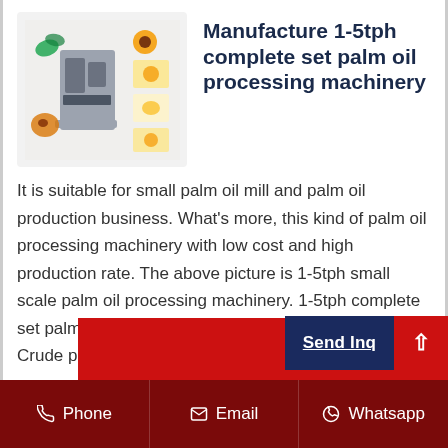[Figure (photo): Product image showing palm oil processing machinery with various seeds and flowers around it, displayed in a light gray rounded box]
Manufacture 1-5tph complete set palm oil processing machinery
It is suitable for small palm oil mill and palm oil production business. What's more, this kind of palm oil processing machinery with low cost and high production rate. The above picture is 1-5tph small scale palm oil processing machinery. 1-5tph complete set palm oil processing machinery process flow chart: Crude palm oil production process